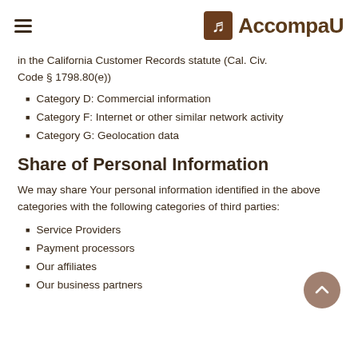AccompaU
in the California Customer Records statute (Cal. Civ. Code § 1798.80(e))
Category D: Commercial information
Category F: Internet or other similar network activity
Category G: Geolocation data
Share of Personal Information
We may share Your personal information identified in the above categories with the following categories of third parties:
Service Providers
Payment processors
Our affiliates
Our business partners